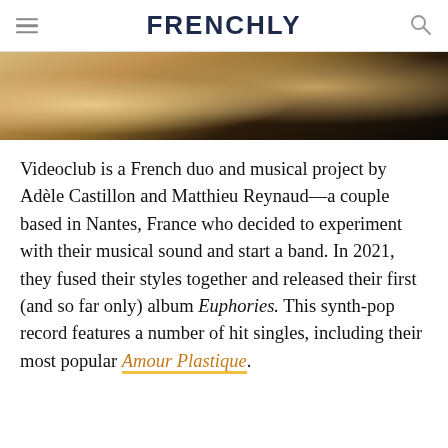FRENCHLY
[Figure (photo): Partial photograph showing golden/tan colored fabric or clothing with dark straps or cords, cropped image]
Videoclub is a French duo and musical project by Adèle Castillon and Matthieu Reynaud—a couple based in Nantes, France who decided to experiment with their musical sound and start a band. In 2021, they fused their styles together and released their first (and so far only) album Euphories. This synth-pop record features a number of hit singles, including their most popular Amour Plastique.